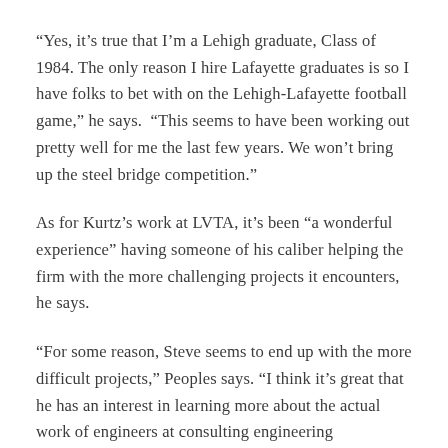“Yes, it’s true that I’m a Lehigh graduate, Class of 1984. The only reason I hire Lafayette graduates is so I have folks to bet with on the Lehigh-Lafayette football game,” he says.  “This seems to have been working out pretty well for me the last few years. We won’t bring up the steel bridge competition.”
As for Kurtz’s work at LVTA, it’s been “a wonderful experience” having someone of his caliber helping the firm with the more challenging projects it encounters, he says.
“For some reason, Steve seems to end up with the more difficult projects,” Peoples says. “I think it’s great that he has an interest in learning more about the actual work of engineers at consulting engineering